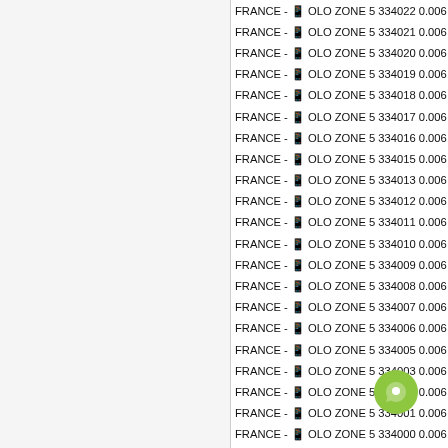FRANCE - OLO ZONE 5 334022 0.006
FRANCE - OLO ZONE 5 334021 0.006
FRANCE - OLO ZONE 5 334020 0.006
FRANCE - OLO ZONE 5 334019 0.006
FRANCE - OLO ZONE 5 334018 0.006
FRANCE - OLO ZONE 5 334017 0.006
FRANCE - OLO ZONE 5 334016 0.006
FRANCE - OLO ZONE 5 334015 0.006
FRANCE - OLO ZONE 5 334013 0.006
FRANCE - OLO ZONE 5 334012 0.006
FRANCE - OLO ZONE 5 334011 0.006
FRANCE - OLO ZONE 5 334010 0.006
FRANCE - OLO ZONE 5 334009 0.006
FRANCE - OLO ZONE 5 334008 0.006
FRANCE - OLO ZONE 5 334007 0.006
FRANCE - OLO ZONE 5 334006 0.006
FRANCE - OLO ZONE 5 334005 0.006
FRANCE - OLO ZONE 5 334003 0.006
FRANCE - OLO ZONE 5 334002 0.006
FRANCE - OLO ZONE 5 334001 0.006
FRANCE - OLO ZONE 5 334000 0.006
FRANCE - OLO ZONE 5 33444 0.0062
FRANCE - OLO ZONE 5 33422 0.0062
FRANCE - OLO ZONE 5 33410 0.0062
FRANCE - OLO ZONE 5 33411 0.0062
FRANCE - OLO ZONE 5 33409 0.0062